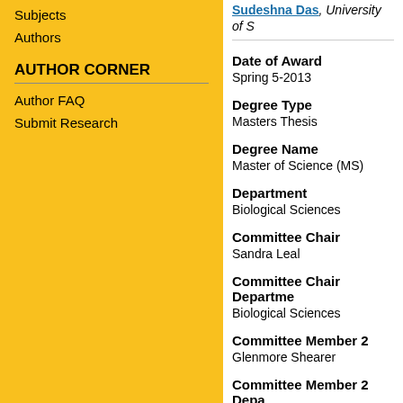Subjects
Authors
AUTHOR CORNER
Author FAQ
Submit Research
Sudeshna Das, University of S…
Date of Award
Spring 5-2013
Degree Type
Masters Thesis
Degree Name
Master of Science (MS)
Department
Biological Sciences
Committee Chair
Sandra Leal
Committee Chair Department
Biological Sciences
Committee Member 2
Glenmore Shearer
Committee Member 2 Department
Biological Sciences